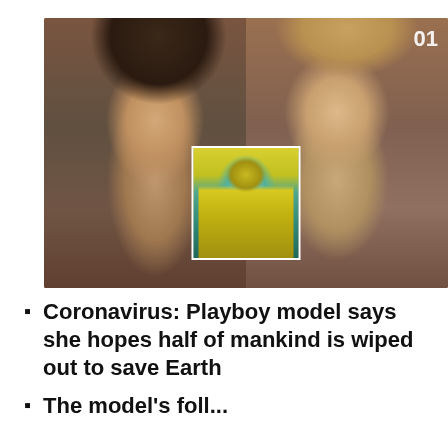[Figure (photo): Composite image: left side shows a young woman with long dark hair in a ponytail; right side shows a woman with light/blonde hair; center inset shows a person in yellow and blue hazmat/protective suit with goggles]
Coronavirus: Playboy model says she hopes half of mankind is wiped out to save Earth
The model's comments, from a news article headline (partially visible)